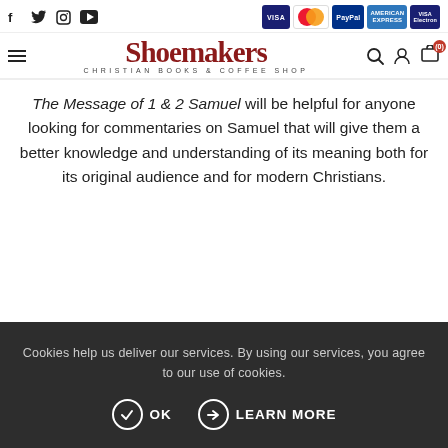Shoemakers Christian Books & Coffee Shop - social icons: f, Twitter, Instagram, YouTube; payment badges: VISA, MasterCard, PayPal, American Express, VISA Electron
The Message of 1 & 2 Samuel will be helpful for anyone looking for commentaries on Samuel that will give them a better knowledge and understanding of its meaning both for its original audience and for modern Christians.
Cookies help us deliver our services. By using our services, you agree to our use of cookies.
OK   LEARN MORE